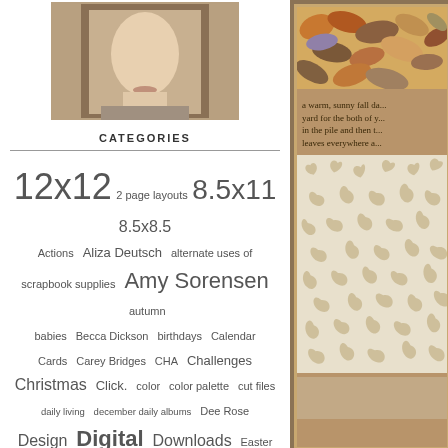[Figure (photo): Partial face photo, person looking down, tan/brown tones, appears to be a portrait photo cropped to show lower face]
CATEGORIES
12x12  2 page layouts  8.5x11  8.5x8.5  Actions  Aliza Deutsch  alternate uses of scrapbook supplies  Amy Sorensen  autumn  babies  Becca Dickson  birthdays  Calendar  Cards  Carey Bridges  CHA  Challenges  Christmas  Click.  color  color palette  cut files  daily living  december daily albums  Dee Rose  Design  Digital  Downloads  Easter  embossing  ephemera  everydaily  family  Father's Day  food  Fourth of July  gallery walk  Giveaways  grandparents  gratitude  Guest Designers  Guests  Halloween  Hanukkah  heritage  home decor  Hybrid Scrapbooking  Inspiration  Interviews  Jennifer Larson  Journaling  Katie Scott  Keshet Starr  Launch Day  Links  Lisa Borbély  Marnie Flores  Mini-Albums  mother's day
[Figure (photo): Autumn leaves photo — orange, brown, purple dried leaves scattered]
a warm, sunny fall da... yard for the both of y... in the pile and then t... leaves everywhere a...
[Figure (illustration): Leaf pattern on cream/tan background — repeating leaf silhouette pattern in beige on light cream]
[Figure (photo): Tan/brown textured background, bottom section]